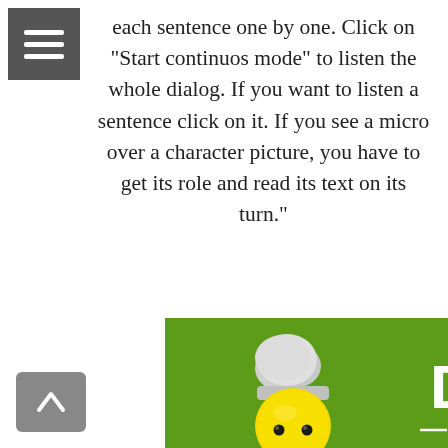[Figure (screenshot): Hamburger menu icon (three white horizontal lines on dark grey square background) in top-left corner]
each sentence one by one. Click on "Start continuos mode" to listen the whole dialog. If you want to listen a sentence click on it. If you see a micro over a character picture, you have to get its role and read its text on its turn."
[Figure (screenshot): Green background scene with a cartoon chef emoji character (yellow round face with white chef hat, black dot eyes) partially visible at the bottom, and a white letter D visible on the right side]
[Figure (screenshot): Grey square back/up button with white chevron arrow in bottom-left corner]